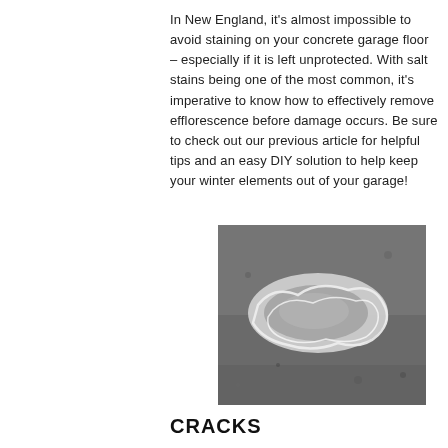In New England, it's almost impossible to avoid staining on your concrete garage floor – especially if it is left unprotected. With salt stains being one of the most common, it's imperative to know how to effectively remove efflorescence before damage occurs. Be sure to check out our previous article for helpful tips and an easy DIY solution to help keep your winter elements out of your garage!
[Figure (photo): Black and white photograph of a concrete floor showing a white salt stain (efflorescence) residue on the dark textured concrete surface.]
CRACKS